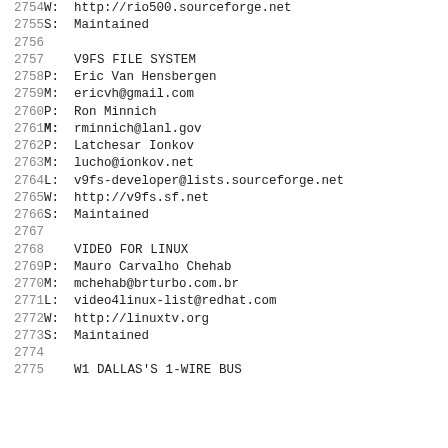2754  W:      http://rio500.sourceforge.net
2755  S:      Maintained
2756
2757  V9FS FILE SYSTEM
2758  P:      Eric Van Hensbergen
2759  M:      ericvh@gmail.com
2760  P:      Ron Minnich
2761  M:      rminnich@lanl.gov
2762  P:      Latchesar Ionkov
2763  M:      lucho@ionkov.net
2764  L:      v9fs-developer@lists.sourceforge.net
2765  W:      http://v9fs.sf.net
2766  S:      Maintained
2767
2768  VIDEO FOR LINUX
2769  P:      Mauro Carvalho Chehab
2770  M:      mchehab@brturbo.com.br
2771  L:      video4linux-list@redhat.com
2772  W:      http://linuxtv.org
2773  S:      Maintained
2774
2775  W1 DALLAS'S 1-WIRE BUS